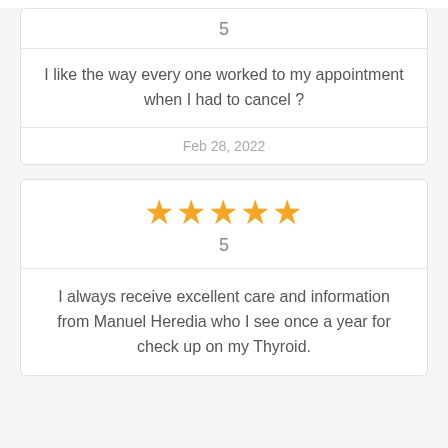5
I like the way every one worked to my appointment when I had to cancel ?
Feb 28, 2022
[Figure (other): Five gold stars rating display]
5
I always receive excellent care and information from Manuel Heredia who I see once a year for check up on my Thyroid.